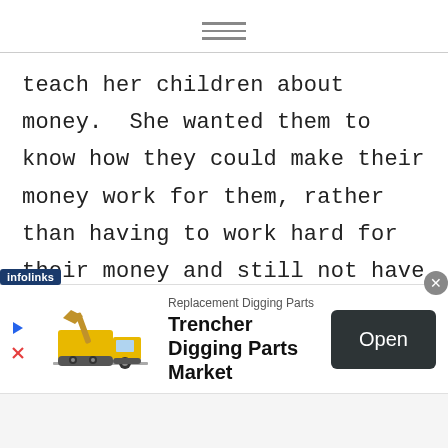≡ (hamburger menu icon)
teach her children about money.  She wanted them to know how they could make their money work for them, rather than having to work hard for their money and still not have any set aside, both for fun and for rainy days in the future. Read about our experiences as my children learn to earn, save, and invest wisely.
[Figure (infographic): Advertisement banner: Infolinks badge at top-left, ad for 'Trencher Digging Parts Market' with truck image, 'Replacement Digging Parts' subtitle, and 'Open' button on right. Close button (X) at top-right.]